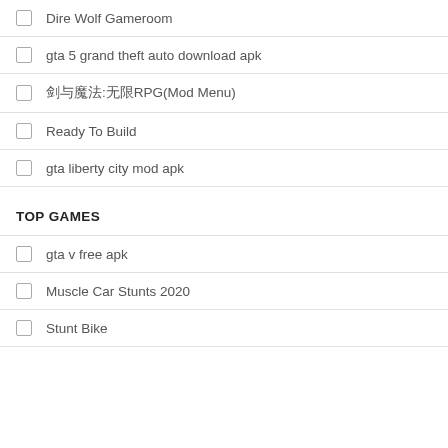Dire Wolf Gameroom
gta 5 grand theft auto download apk
剑与魔法:无限RPG(Mod Menu)
Ready To Build
gta liberty city mod apk
TOP GAMES
gta v free apk
Muscle Car Stunts 2020
Stunt Bike